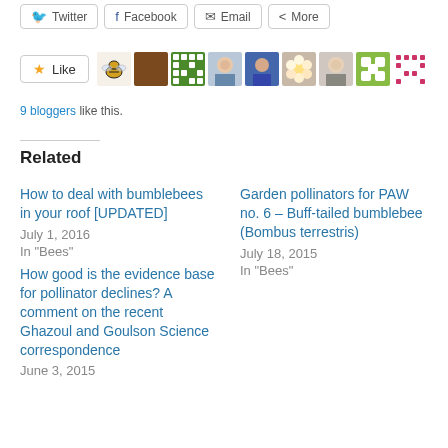[Figure (screenshot): Social share buttons: Twitter, Facebook, Email, More]
[Figure (screenshot): Like button with star icon and 9 blogger avatars]
9 bloggers like this.
Related
How to deal with bumblebees in your roof [UPDATED]
July 1, 2016
In "Bees"
Garden pollinators for PAW no. 6 – Buff-tailed bumblebee (Bombus terrestris)
July 18, 2015
In "Bees"
How good is the evidence base for pollinator declines? A comment on the recent Ghazoul and Goulson Science correspondence
June 3, 2015